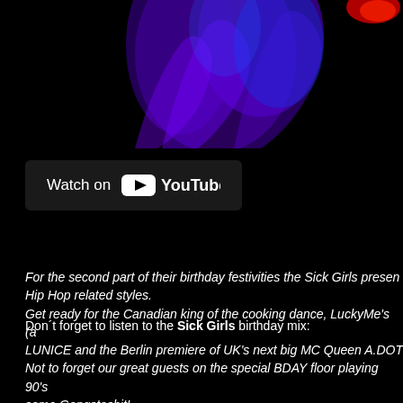[Figure (illustration): Purple and blue flame/smoke graphic on black background, partially visible at top of page with a red element in upper right corner]
[Figure (logo): YouTube 'Watch on YouTube' badge with white YouTube logo on dark rounded rectangle background]
For the second part of their birthday festivities the Sick Girls present Hip Hop related styles. Get ready for the Canadian king of the cooking dance, LuckyMe's (a LUNICE and the Berlin premiere of UK's next big MC Queen A.DOT Not to forget our great guests on the special BDAY floor playing 90's some Gangstashit!
Don´t forget to listen to the Sick Girls birthday mix: